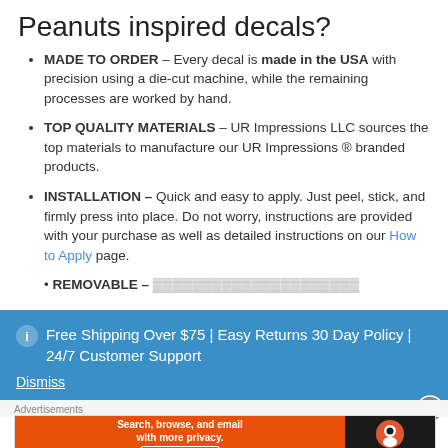Peanuts inspired decals?
MADE TO ORDER – Every decal is made in the USA with precision using a die-cut machine, while the remaining processes are worked by hand.
TOP QUALITY MATERIALS – UR Impressions LLC sources the top materials to manufacture our UR Impressions ® branded products.
INSTALLATION – Quick and easy to apply. Just peel, stick, and firmly press into place. Do not worry, instructions are provided with your purchase as well as detailed instructions on our How to Apply page.
REMOVABLE –
Free Shipping Over $75 | Easy Returns 30 Day Policy | 24/7 Customer Support
Dismiss
Advertisements
[Figure (screenshot): DuckDuckGo advertisement banner: orange left side reading 'Search, browse, and email with more privacy. All in One Free App', dark right side with DuckDuckGo logo and name.]